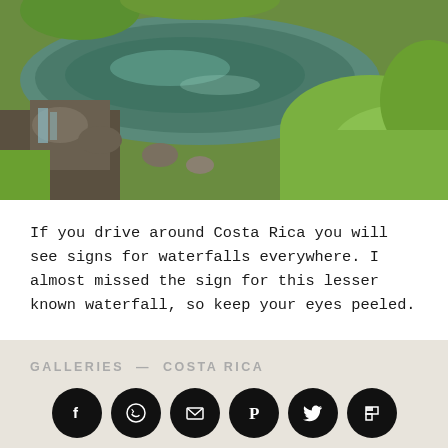[Figure (photo): Aerial or elevated view of a river pool with greenery, rocks, and a small waterfall in Costa Rica]
If you drive around Costa Rica you will see signs for waterfalls everywhere. I almost missed the sign for this lesser known waterfall, so keep your eyes peeled.
GALLERIES — COSTA RICA
[Figure (infographic): Row of social media sharing icons: Facebook, WhatsApp, Email, Pinterest, Twitter, Flipboard]